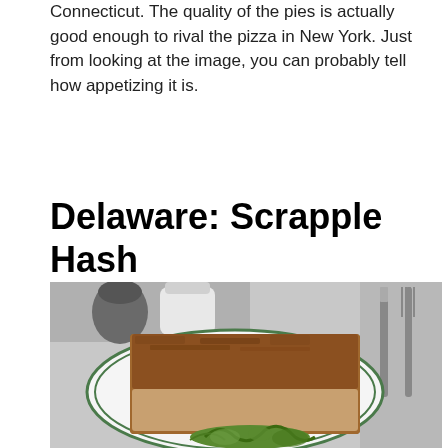Connecticut. The quality of the pies is actually good enough to rival the pizza in New York. Just from looking at the image, you can probably tell how appetizing it is.
Delaware: Scrapple Hash
[Figure (photo): A large rectangular piece of scrapple hash served on a white plate with green trim rings, garnished with green herbs/lettuce. A knife and fork are visible to the right. Salt and pepper shakers are visible in the background.]